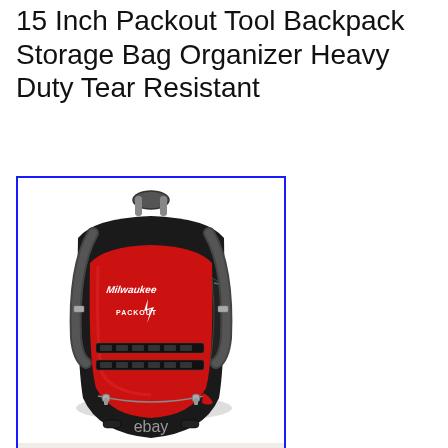15 Inch Packout Tool Backpack Storage Bag Organizer Heavy Duty Tear Resistant
[Figure (photo): Milwaukee Packout 15-inch tool backpack in red and black, shown at an angle displaying the front panel with Milwaukee logo and PACKOUT branding, molle-style straps on bottom, side pockets, and shoulder straps. An eBay watermark is visible at the bottom of the image. The image is bordered in blue.]